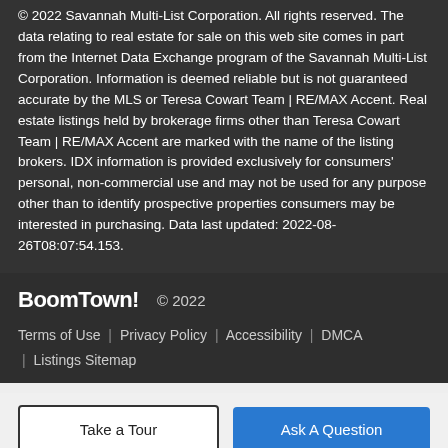© 2022 Savannah Multi-List Corporation. All rights reserved. The data relating to real estate for sale on this web site comes in part from the Internet Data Exchange program of the Savannah Multi-List Corporation. Information is deemed reliable but is not guaranteed accurate by the MLS or Teresa Cowart Team | RE/MAX Accent. Real estate listings held by brokerage firms other than Teresa Cowart Team | RE/MAX Accent are marked with the name of the listing brokers. IDX information is provided exclusively for consumers' personal, non-commercial use and may not be used for any purpose other than to identify prospective properties consumers may be interested in purchasing. Data last updated: 2022-08-26T08:07:54.153.
BoomTown! © 2022  Terms of Use | Privacy Policy | Accessibility | DMCA | Listings Sitemap
Take a Tour    Ask A Question